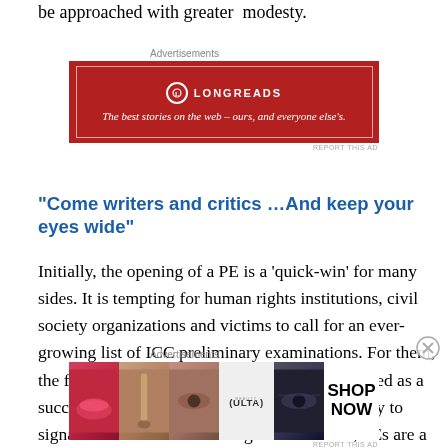be approached with greater modesty.
[Figure (other): Longreads advertisement: dark red banner with logo and tagline 'The best stories on the web – ours, and everyone else's.']
“Come writers and critics …And keep your eyes wide”
Initially, the opening of a PE is a ‘quick-win’ for many sides. It is tempting for human rights institutions, civil society organizations and victims to call for an ever-growing list of ICC preliminary examinations. For them, the fact that a situation is under PE can be branded as a success. For states, PEs may be a convenient way to signal concern or moral outrage. For the ICC, PEs are a
[Figure (other): Ulta Beauty advertisement with cosmetics imagery and 'SHOP NOW' call to action.]